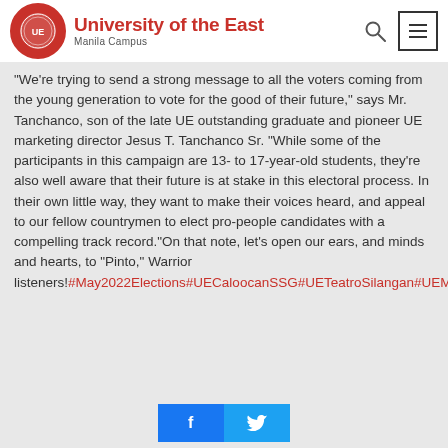University of the East Manila Campus
"We're trying to send a strong message to all the voters coming from the young generation to vote for the good of their future," says Mr. Tanchanco, son of the late UE outstanding graduate and pioneer UE marketing director Jesus T. Tanchanco Sr. “While some of the participants in this campaign are 13- to 17-year-old students, they’re also well aware that their future is at stake in this electoral process. In their own little way, they want to make their voices heard, and appeal to our fellow countrymen to elect pro-people candidates with a compelling track record.”On that note, let’s open our ears, and minds and hearts, to “Pinto,” Warrior listeners!#May2022Elections#UECaloocanSSG#UETeatroSilangan#UEMusicAficionado#HimigSilangan#UEJamSessions#fUElingBrightFutures#TomorrowBeginsintheEast
[Figure (other): Social share buttons: Facebook (blue) and Twitter (light blue)]